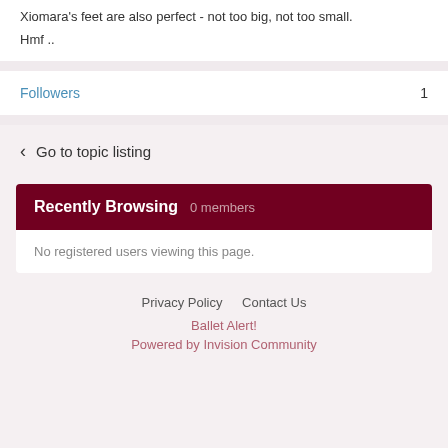Xiomara's feet are also perfect - not too big, not too small.
Hmf..
Followers  1
Go to topic listing
Recently Browsing   0 members
No registered users viewing this page.
Privacy Policy   Contact Us
Ballet Alert!
Powered by Invision Community